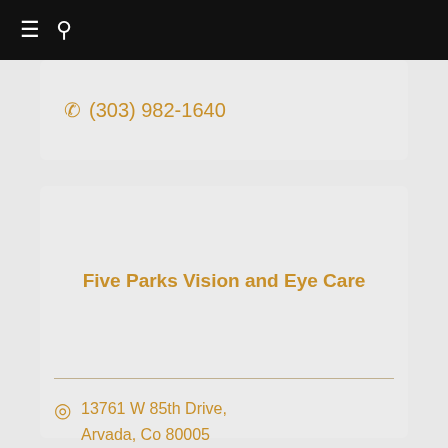≡ 🔍
(303) 982-1640
Five Parks Vision and Eye Care
13761 W 85th Drive, Arvada, Co 80005
303-456-4056